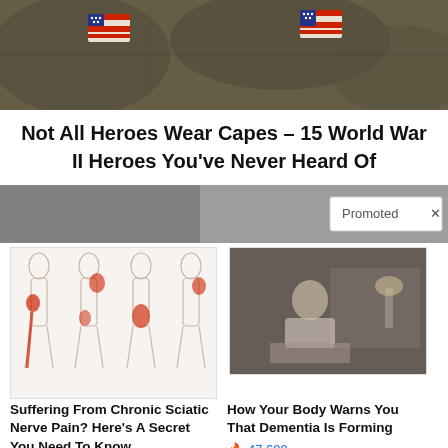[Figure (photo): Military soldiers in camouflage uniforms with American flag patches on shoulders]
Not All Heroes Wear Capes – 15 World War II Heroes You've Never Heard Of
[Figure (infographic): Promoted content bar with grayscale background and 'Promoted X' label]
[Figure (photo): Medical illustration of sciatic nerve pain showing four body outlines with red highlighted pain areas]
Suffering From Chronic Sciatic Nerve Pain? Here's A Secret You Need To Know
78,262
[Figure (photo): Elderly person sitting on bed looking downward in a dimly lit room]
How Your Body Warns You That Dementia Is Forming
47,609